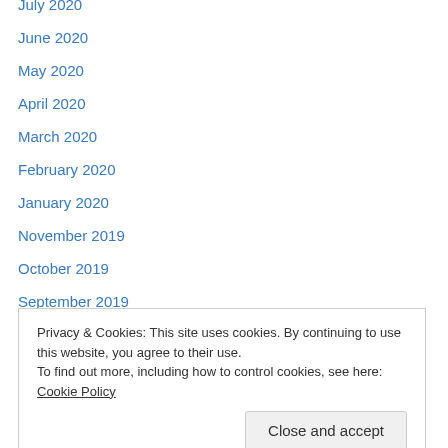July 2020
June 2020
May 2020
April 2020
March 2020
February 2020
January 2020
November 2019
October 2019
September 2019
August 2019
July 2019
June 2019
May 2019
Privacy & Cookies: This site uses cookies. By continuing to use this website, you agree to their use. To find out more, including how to control cookies, see here: Cookie Policy
February 2018